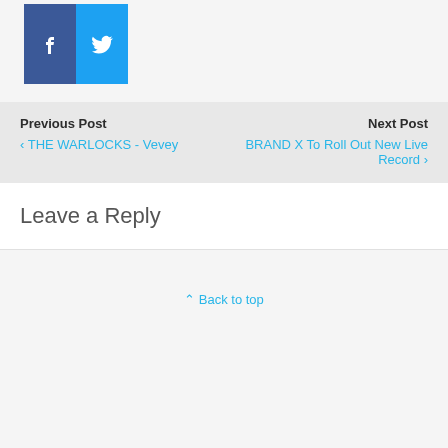[Figure (other): Social media share buttons: Facebook (dark blue) and Twitter (light blue) side by side]
Previous Post
‹ THE WARLOCKS - Vevey
Next Post
BRAND X To Roll Out New Live Record ›
Leave a Reply
⋀ Back to top